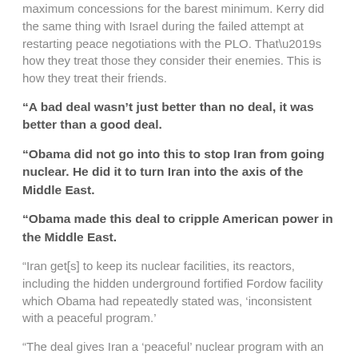maximum concessions for the barest minimum. Kerry did the same thing with Israel during the failed attempt at restarting peace negotiations with the PLO. That’s how they treat those they consider their enemies. This is how they treat their friends.
“A bad deal wasn’t just better than no deal, it was better than a good deal.
“Obama did not go into this to stop Iran from going nuclear. He did it to turn Iran into the axis of the Middle East.
“Obama made this deal to cripple American power in the Middle East.
“Iran get[s] to keep its nuclear facilities, its reactors, including the hidden underground fortified Fordow facility which Obama had repeatedly stated was, ‘inconsistent with a peaceful program.’
“The deal gives Iran a ‘peaceful’ nuclear program with an